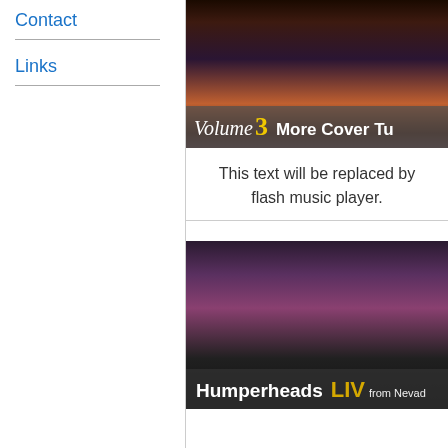Contact
Links
[Figure (photo): Album cover showing Volume 3 More Cover Tunes with colorful concert crowd background]
This text will be replaced by a flash music player.
[Figure (photo): Album cover showing Humperheads Live - from Nevada, with dark concert stage background and performers]